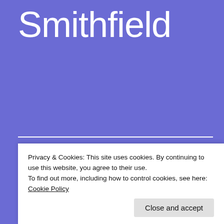Smithfield
Sir Bevis Bulmer – son of Smithfield
Privacy & Cookies: This site uses cookies. By continuing to use this website, you agree to their use.
To find out more, including how to control cookies, see here: Cookie Policy
Close and accept